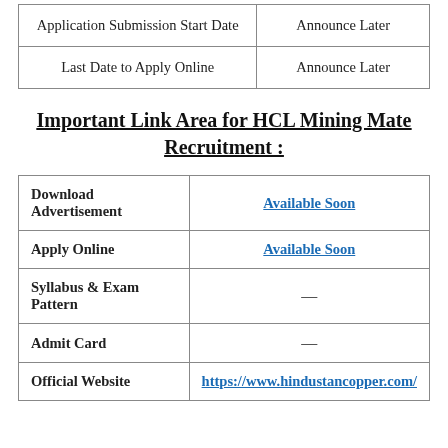|  |  |
| --- | --- |
| Application Submission Start Date | Announce Later |
| Last Date to Apply Online | Announce Later |
Important Link Area for HCL Mining Mate Recruitment :
|  |  |
| --- | --- |
| Download Advertisement | Available Soon |
| Apply Online | Available Soon |
| Syllabus & Exam Pattern | — |
| Admit Card | — |
| Official Website | https://www.hindustancopper.com/ |